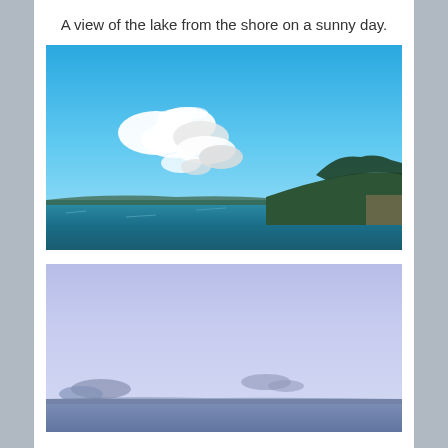A view of the lake from the shore on a sunny day.
[Figure (photo): Photograph of a lake viewed from the shore on a sunny day. The upper portion shows a bright blue sky with scattered white cumulus clouds. The lower portion shows a calm blue-green lake with a wooded shoreline and rocky cliff visible on the right side.]
[Figure (photo): Photograph of a lake or water body under a pale lavender-blue overcast sky with a few small dark clouds. The bottom of the image shows a hint of shoreline or water surface.]